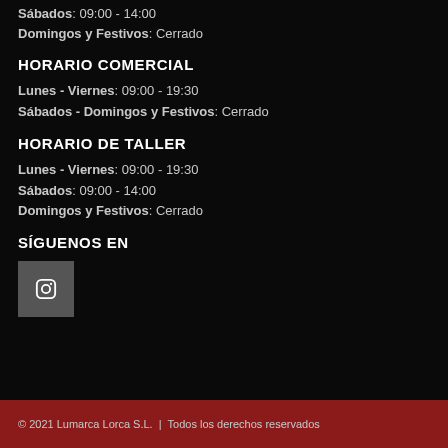Sábados: 09:00 - 14:00
Domingos y Festivos: Cerrado
HORARIO COMERCIAL
Lunes - Viernes: 09:00 - 19:30
Sábados - Domingos y Festivos: Cerrado
HORARIO DE TALLER
Lunes - Viernes: 09:00 - 19:30
Sábados: 09:00 - 14:00
Domingos y Festivos: Cerrado
SÍGUENOS EN
[Figure (logo): Social media icon button (Instagram/Facebook) with a white icon on grey background]
© 2021 Lumarca Lorca S.L.  |  Todos los derechos reservados